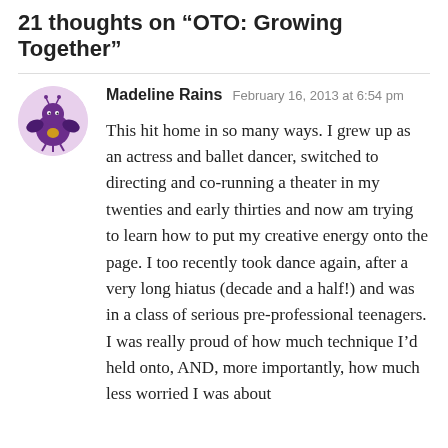21 thoughts on “OTO: Growing Together”
Madeline Rains  February 16, 2013 at 6:54 pm

This hit home in so many ways. I grew up as an actress and ballet dancer, switched to directing and co-running a theater in my twenties and early thirties and now am trying to learn how to put my creative energy onto the page. I too recently took dance again, after a very long hiatus (decade and a half!) and was in a class of serious pre-professional teenagers. I was really proud of how much technique I’d held onto, AND, more importantly, how much less worried I was about